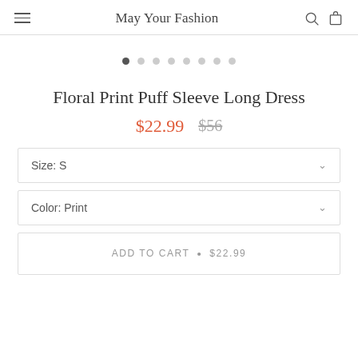May Your Fashion
[Figure (other): Image carousel dot navigation with 8 dots, first dot filled/active]
Floral Print Puff Sleeve Long Dress
$22.99  $56
Size: S
Color: Print
ADD TO CART • $22.99